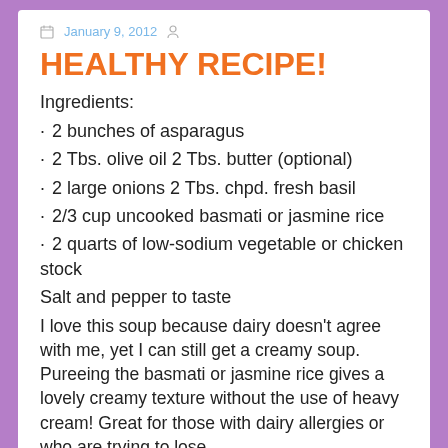January 9, 2012
HEALTHY RECIPE!
Ingredients:
· 2 bunches of asparagus
· 2 Tbs. olive oil 2 Tbs. butter (optional)
· 2 large onions 2 Tbs. chpd. fresh basil
· 2/3 cup uncooked basmati or jasmine rice
· 2 quarts of low-sodium vegetable or chicken stock
Salt and pepper to taste
I love this soup because dairy doesn't agree with me, yet I can still get a creamy soup. Pureeing the basmati or jasmine rice gives a lovely creamy texture without the use of heavy cream! Great for those with dairy allergies or who are trying to lose